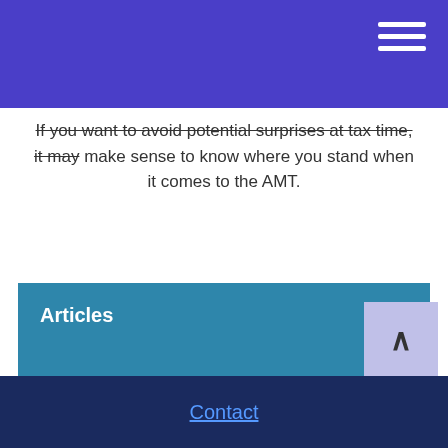If you want to avoid potential surprises at tax time, it may make sense to know where you stand when it comes to the AMT.
Articles +
Calculators +
Videos +
Contact